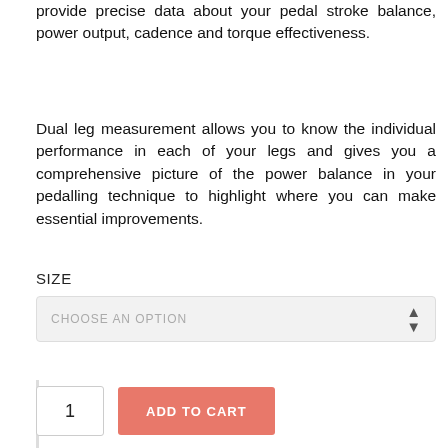provide precise data about your pedal stroke balance, power output, cadence and torque effectiveness.
Dual leg measurement allows you to know the individual performance in each of your legs and gives you a comprehensive picture of the power balance in your pedalling technique to highlight where you can make essential improvements.
SIZE
CHOOSE AN OPTION
1
ADD TO CART